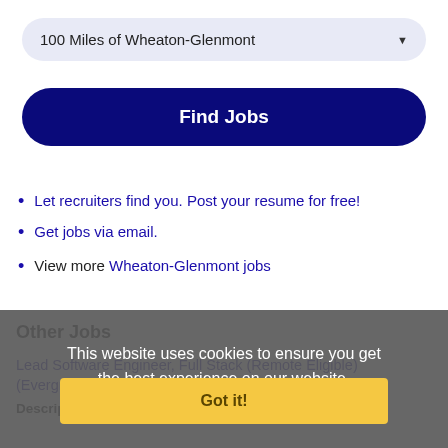100 Miles of Wheaton-Glenmont
Find Jobs
Let recruiters find you. Post your resume for free!
Get jobs via email.
View more Wheaton-Glenmont jobs
This website uses cookies to ensure you get the best experience on our website.
Learn more
Other Jobs
Got it!
Lead Software Engineer, Full Stack (Remote Eligible) (Evergreen) (Open)
Description: West Creek 8 12080 , United States of America,